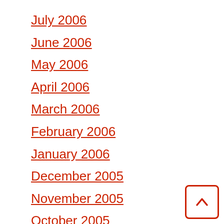July 2006
June 2006
May 2006
April 2006
March 2006
February 2006
January 2006
December 2005
November 2005
October 2005
September 2005